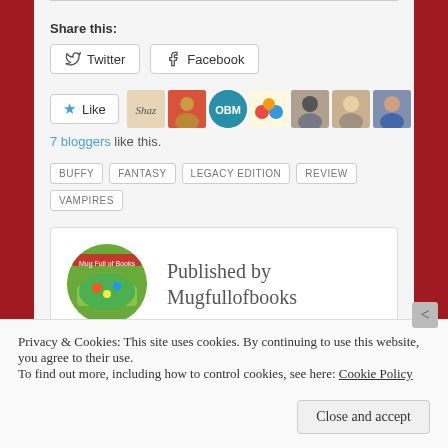Share this:
Twitter
Facebook
[Figure (other): Like button with star icon and 7 blogger avatars]
7 bloggers like this.
BUFFY
FANTASY
LEGACY EDITION
REVIEW
VAMPIRES
Published by Mugfullofbooks
Privacy & Cookies: This site uses cookies. By continuing to use this website, you agree to their use.
To find out more, including how to control cookies, see here: Cookie Policy
Close and accept